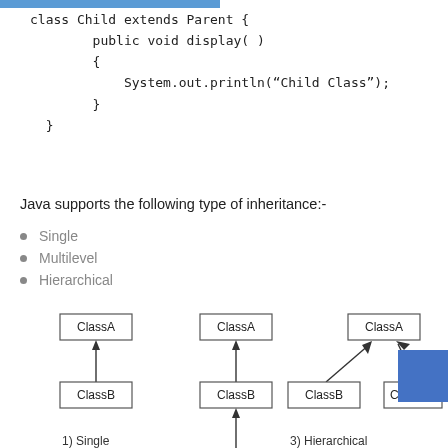class Child extends Parent {
    public void display( )
    {
        System.out.println("Child Class");
    }
}
Java supports the following type of inheritance:-
Single
Multilevel
Hierarchical
[Figure (other): Inheritance type diagrams: 1) Single inheritance (ClassA -> ClassB), 2) Multilevel inheritance (ClassA -> ClassB -> ClassC, partial), 3) Hierarchical inheritance (ClassB and ClassC both point to ClassA)]